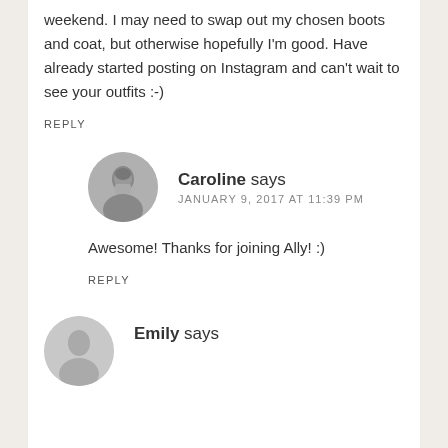weekend. I may need to swap out my chosen boots and coat, but otherwise hopefully I'm good. Have already started posting on Instagram and can't wait to see your outfits :-)
REPLY
Caroline says
JANUARY 9, 2017 AT 11:39 PM
Awesome! Thanks for joining Ally! :)
REPLY
Emily says